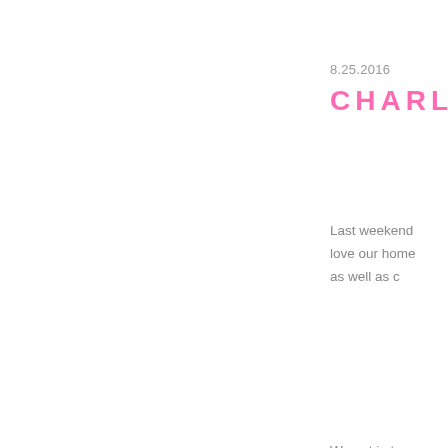8.25.2016
CHARLE
Last weekend
love our home
as well as c
We got in to